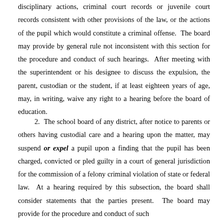disciplinary actions, criminal court records or juvenile court records consistent with other provisions of the law, or the actions of the pupil which would constitute a criminal offense. The board may provide by general rule not inconsistent with this section for the procedure and conduct of such hearings. After meeting with the superintendent or his designee to discuss the expulsion, the parent, custodian or the student, if at least eighteen years of age, may, in writing, waive any right to a hearing before the board of education.
2. The school board of any district, after notice to parents or others having custodial care and a hearing upon the matter, may suspend or expel a pupil upon a finding that the pupil has been charged, convicted or pled guilty in a court of general jurisdiction for the commission of a felony criminal violation of state or federal law. At a hearing required by this subsection, the board shall consider statements that the parties present. The board may provide for the procedure and conduct of such